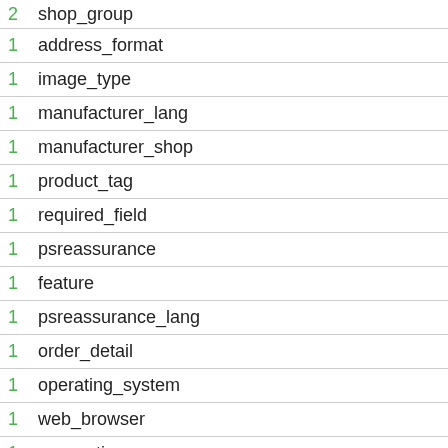| 2 | shop_group |
| 1 | address_format |
| 1 | image_type |
| 1 | manufacturer_lang |
| 1 | manufacturer_shop |
| 1 | product_tag |
| 1 | required_field |
| 1 | psreassurance |
| 1 | feature |
| 1 | psreassurance_lang |
| 1 | order_detail |
| 1 | operating_system |
| 1 | web_browser |
| 1 | connections |